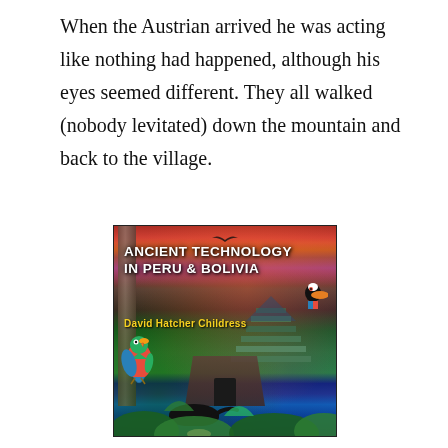When the Austrian arrived he was acting like nothing had happened, although his eyes seemed different. They all walked (nobody levitated) down the mountain and back to the village.
[Figure (illustration): Book cover for 'Ancient Technology in Peru & Bolivia' by David Hatcher Childress. Features a dramatic jungle and ancient ruins scene with a red parrot, toucan, black panther/cat, Machu Picchu-like terraced ruins in the background, a stone doorway, lush green vegetation, dramatic red and purple sky, and a stone pillar on the left.]